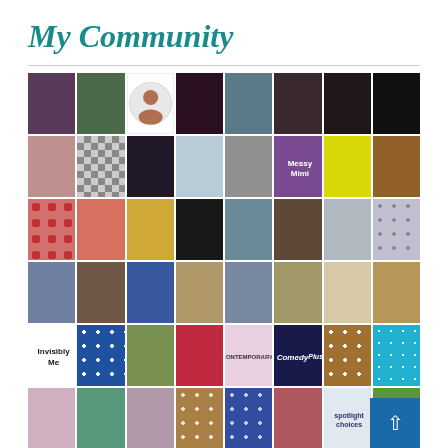My Community
[Figure (photo): A 8x6 grid of community member profile photos, avatars, pattern tiles, and logos representing a blogger's community]